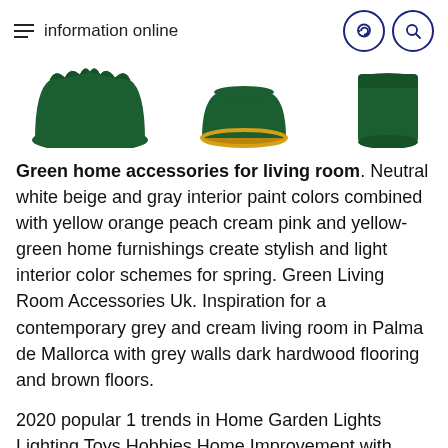information online
[Figure (photo): Three dark green decorative objects/vases shown from above against a white background, partially cropped at the top of the page.]
Green home accessories for living room. Neutral white beige and gray interior paint colors combined with yellow orange peach cream pink and yellow-green home furnishings create stylish and light interior color schemes for spring. Green Living Room Accessories Uk. Inspiration for a contemporary grey and cream living room in Palma de Mallorca with grey walls dark hardwood flooring and brown floors.
2020 popular 1 trends in Home Garden Lights Lighting Toys Hobbies Home Improvement with Green Accessories Living Room and 1. Design ideas for a large classic formal living room in Wiltshire with blue walls carpet a standard fireplace a stone fireplace surround